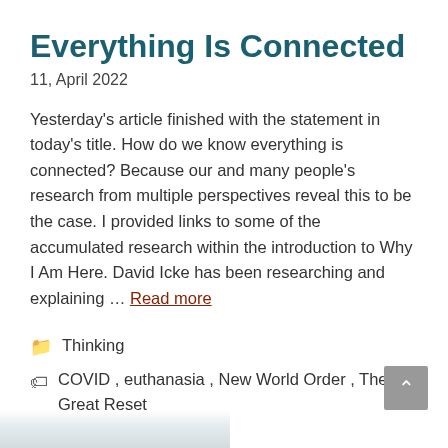Everything Is Connected
11, April 2022
Yesterday's article finished with the statement in today's title. How do we know everything is connected? Because our and many people's research from multiple perspectives reveal this to be the case. I provided links to some of the accumulated research within the introduction to Why I Am Here. David Icke has been researching and explaining … Read more
Thinking
COVID , euthanasia , New World Order , The Great Reset